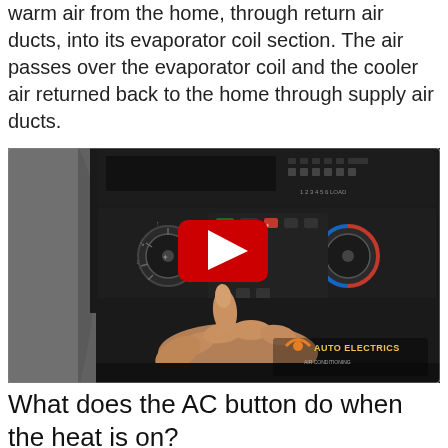warm air from the home, through return air ducts, into its evaporator coil section. The air passes over the evaporator coil and the cooler air returned back to the home through supply air ducts.
[Figure (screenshot): A YouTube video thumbnail showing a hand pressing the AC button on a car's HVAC control panel with a red YouTube play button overlay. The panel has knobs and buttons for fan speed, temperature and air distribution. A watermark reads 'AUTO ELECTRICS' in the lower right corner.]
What does the AC button do when the heat is on?